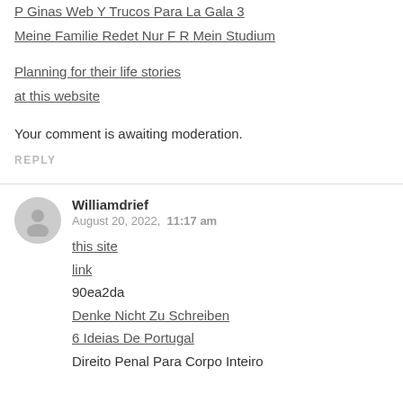P Ginas Web Y Trucos Para La Gala 3
Meine Familie Redet Nur F R Mein Studium
Planning for their life stories
at this website
Your comment is awaiting moderation.
REPLY
Williamdrief
August 20, 2022,  11:17 am
this site
link
90ea2da
Denke Nicht Zu Schreiben
6 Ideias De Portugal
Direito Penal Para Corpo Inteiro